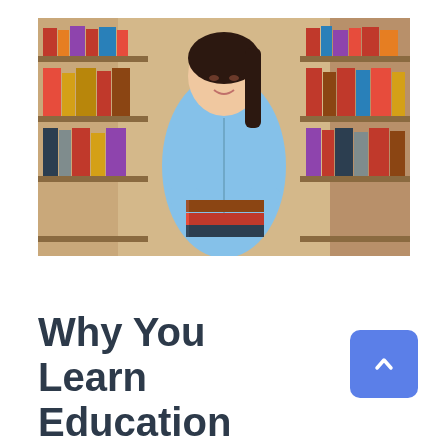[Figure (photo): A smiling young woman in a light blue zip-up jacket standing in a library aisle between shelves of books, holding a small stack of books in her arms.]
Why You Learn Education